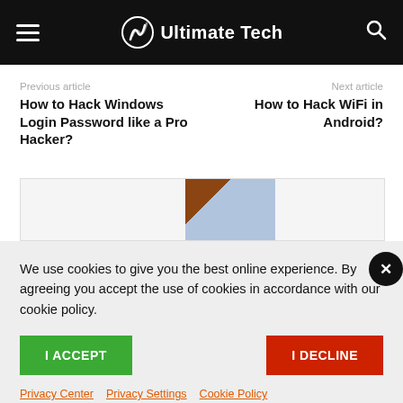Ultimate Tech
Previous article
How to Hack Windows Login Password like a Pro Hacker?
Next article
How to Hack WiFi in Android?
[Figure (photo): Partial image visible inside ad/content box]
We use cookies to give you the best online experience. By agreeing you accept the use of cookies in accordance with our cookie policy.
I ACCEPT
I DECLINE
Privacy Center  Privacy Settings  Cookie Policy
popularity to the fact that he posts genuine contents to his blog